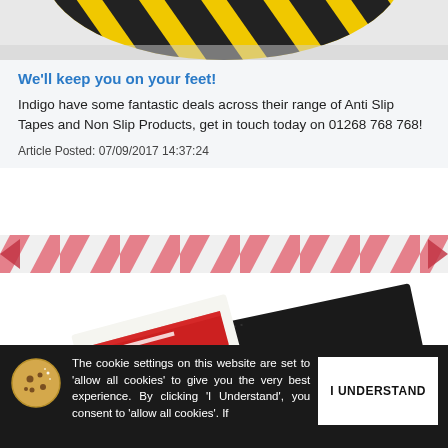[Figure (photo): Partial top view of yellow and black anti-slip tape product on grey background]
We'll keep you on your feet!
Indigo have some fantastic deals across their range of Anti Slip Tapes and Non Slip Products, get in touch today on 01268 768 768!
Article Posted: 07/09/2017 14:37:24
[Figure (illustration): Diagonal red and white hazard tape stripe banner]
[Figure (photo): Partial photo of anti-slip tape product samples including black textured strip and branded tape roll]
The cookie settings on this website are set to 'allow all cookies' to give you the very best experience. By clicking 'I Understand', you consent to 'allow all cookies'. If